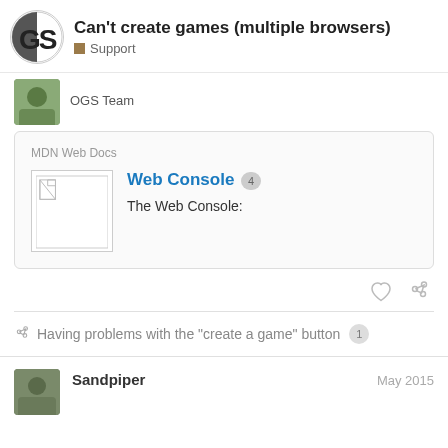Can't create games (multiple browsers)
Support
OGS Team
[Figure (screenshot): Embedded link card for MDN Web Docs showing 'Web Console' with a broken image placeholder and text 'The Web Console:']
Having problems with the "create a game" button 1
Sandpiper
May 2015